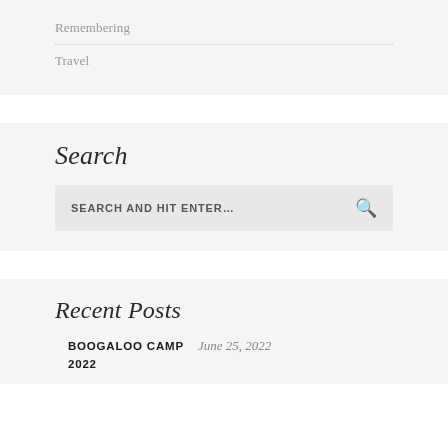Remembering
Travel
Search
SEARCH AND HIT ENTER...
Recent Posts
BOOGALOO CAMP 2022  June 25, 2022